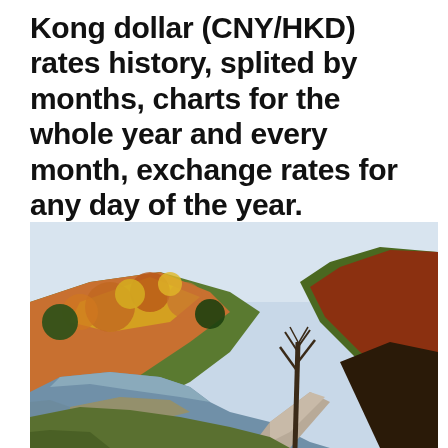Kong dollar (CNY/HKD) rates history, splited by months, charts for the whole year and every month, exchange rates for any day of the year.
[Figure (photo): Autumn landscape photograph showing a winding dirt road alongside a calm river, flanked by hills covered in colorful fall foliage in shades of orange, red, yellow, and green, with a bare tree in the foreground and a pale sky above.]